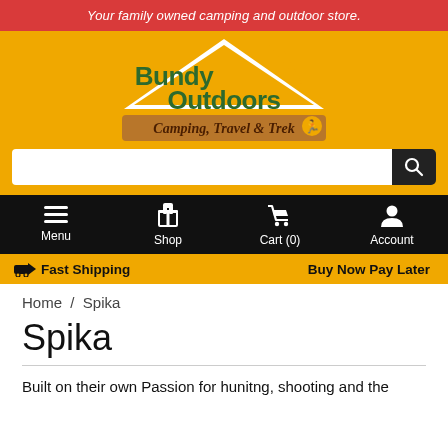Your family owned camping and outdoor store.
[Figure (logo): Bundy Outdoors logo with tent shape and text 'Bundy Outdoors Camping, Travel & Trek' on orange background]
[Figure (screenshot): Search bar with magnifying glass icon]
Menu  Shop  Cart (0)  Account
🚚 Fast Shipping   Buy Now Pay Later
Home / Spika
Spika
Built on their own Passion for hunitng, shooting and the